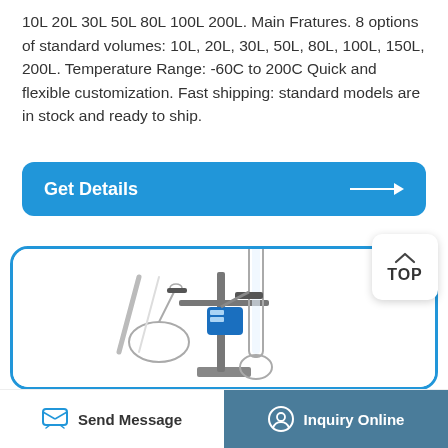10L 20L 30L 50L 80L 100L 200L. Main Fratures. 8 options of standard volumes: 10L, 20L, 30L, 50L, 80L, 100L, 150L, 200L. Temperature Range: -60C to 200C Quick and flexible customization. Fast shipping: standard models are in stock and ready to ship.
[Figure (other): Blue rounded rectangle button labeled 'Get Details' with right arrow]
[Figure (other): White rounded square button labeled 'TOP' with caret/chevron up icon]
[Figure (photo): Laboratory rotary evaporator equipment with glass flasks and metal stand inside a blue-bordered rounded rectangle card]
[Figure (other): Footer bar with 'Send Message' button on the left and 'Inquiry Online' button on the right with a dark teal-blue background]